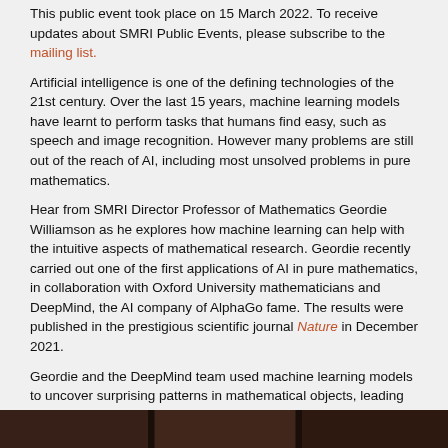This public event took place on 15 March 2022. To receive updates about SMRI Public Events, please subscribe to the mailing list.
Artificial intelligence is one of the defining technologies of the 21st century. Over the last 15 years, machine learning models have learnt to perform tasks that humans find easy, such as speech and image recognition. However many problems are still out of the reach of AI, including most unsolved problems in pure mathematics.
Hear from SMRI Director Professor of Mathematics Geordie Williamson as he explores how machine learning can help with the intuitive aspects of mathematical research. Geordie recently carried out one of the first applications of AI in pure mathematics, in collaboration with Oxford University mathematicians and DeepMind, the AI company of AlphaGo fame. The results were published in the prestigious scientific journal Nature in December 2021.
Geordie and the DeepMind team used machine learning models to uncover surprising patterns in mathematical objects, leading to progress on problems that have puzzled mathematicians for decades.
Mathematician and MC Adam Spencer will host this Sydney Ideas talk. Join us to find out how AI can help deepen our understanding of the world and our brains, and enhance one of our human superpowers: intuition.
View the post-event news post for a photo gallery and companion articles, as well as the event recording:
[Figure (photo): Dark strip at the bottom of the page showing a photo related to the event]